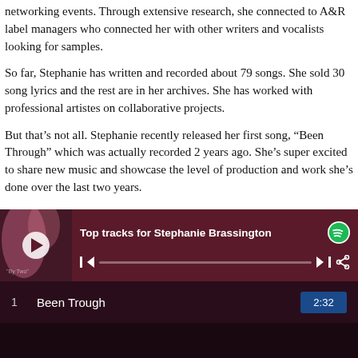networking events. Through extensive research, she connected to A&R label managers who connected her with other writers and vocalists looking for samples.
So far, Stephanie has written and recorded about 79 songs. She sold 30 song lyrics and the rest are in her archives. She has worked with professional artistes on collaborative projects.
But that’s not all. Stephanie recently released her first song, “Been Through” which was actually recorded 2 years ago. She’s super excited to share new music and showcase the level of production and work she’s done over the last two years.
[Figure (screenshot): Spotify player widget showing 'Top tracks for Stephanie Brassington' with album art, play button, progress bar, and track list showing 'Been Trough' with duration 2:32]